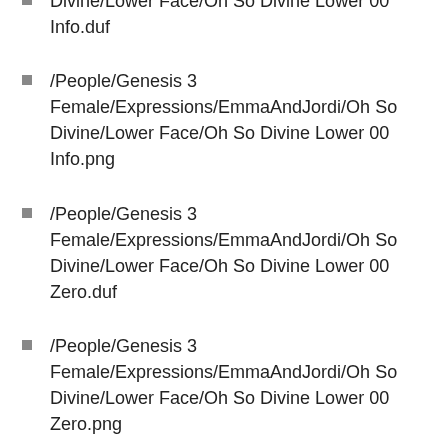/People/Genesis 3 Female/Expressions/EmmaAndJordi/Oh So Divine/Lower Face/Oh So Divine Lower 00 Info.duf
/People/Genesis 3 Female/Expressions/EmmaAndJordi/Oh So Divine/Lower Face/Oh So Divine Lower 00 Info.png
/People/Genesis 3 Female/Expressions/EmmaAndJordi/Oh So Divine/Lower Face/Oh So Divine Lower 00 Zero.duf
/People/Genesis 3 Female/Expressions/EmmaAndJordi/Oh So Divine/Lower Face/Oh So Divine Lower 00 Zero.png
/People/Genesis 3 Female/Expressions/EmmaAndJordi/Oh So Divine/Lower Face/Oh So Divine Lower 01.duf
/People/Genesis 3 Female/Expressions/EmmaAndJordi/Oh So Divine/Lower Face/Oh So Divine Lower 01.png
/People/Genesis 3